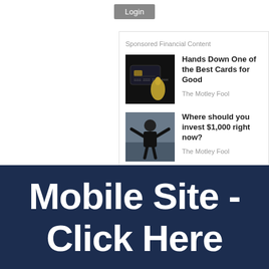Login
Sponsored Financial Content
[Figure (photo): Credit card being held by a gold trophy hand figurine on dark background]
Hands Down One of the Best Cards for Good
The Motley Fool
[Figure (photo): Older man with arms outstretched joyfully outdoors]
Where should you invest $1,000 right now?
The Motley Fool
Mobile Site - Click Here